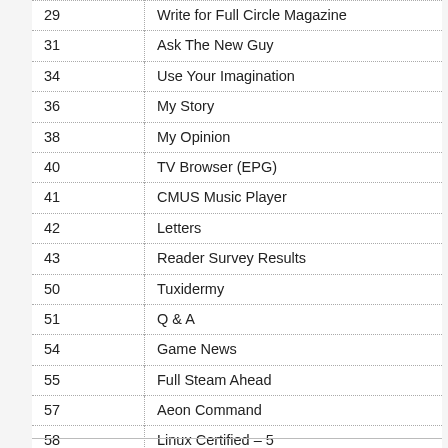| Page | Section |
| --- | --- |
| 29 | Write for Full Circle Magazine |
| 31 | Ask The New Guy |
| 34 | Use Your Imagination |
| 36 | My Story |
| 38 | My Opinion |
| 40 | TV Browser (EPG) |
| 41 | CMUS Music Player |
| 42 | Letters |
| 43 | Reader Survey Results |
| 50 | Tuxidermy |
| 51 | Q & A |
| 54 | Game News |
| 55 | Full Steam Ahead |
| 57 | Aeon Command |
| 58 | Linux Certified – 5 |
| 59 | My Desktop |
| 61 | How to Contribute |